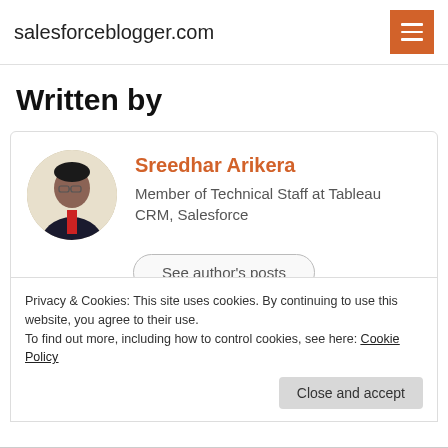salesforceblogger.com
Written by
[Figure (photo): Circular profile photo of Sreedhar Arikera, a man in a dark suit with a red tie]
Sreedhar Arikera
Member of Technical Staff at Tableau CRM, Salesforce
See author's posts
Privacy & Cookies: This site uses cookies. By continuing to use this website, you agree to their use.
To find out more, including how to control cookies, see here: Cookie Policy
Close and accept